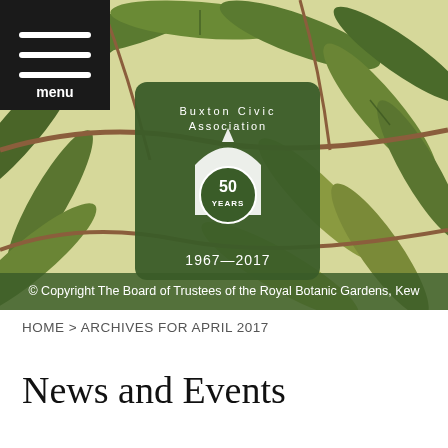[Figure (photo): Botanical illustration of green leaves (Kew Gardens) as header background with Buxton Civic Association 50 Years 1967-2017 logo badge overlaid in the center, and a menu button in the top-left corner]
© Copyright The Board of Trustees of the Royal Botanic Gardens, Kew
HOME > ARCHIVES FOR APRIL 2017
News and Events